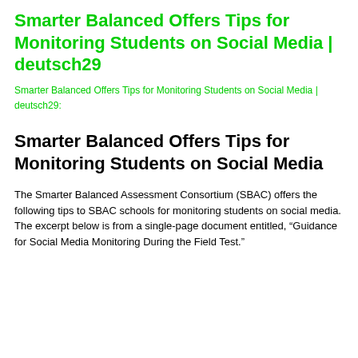Smarter Balanced Offers Tips for Monitoring Students on Social Media | deutsch29
Smarter Balanced Offers Tips for Monitoring Students on Social Media | deutsch29:
Smarter Balanced Offers Tips for Monitoring Students on Social Media
The Smarter Balanced Assessment Consortium (SBAC) offers the following tips to SBAC schools for monitoring students on social media. The excerpt below is from a single-page document entitled, “Guidance for Social Media Monitoring During the Field Test.”